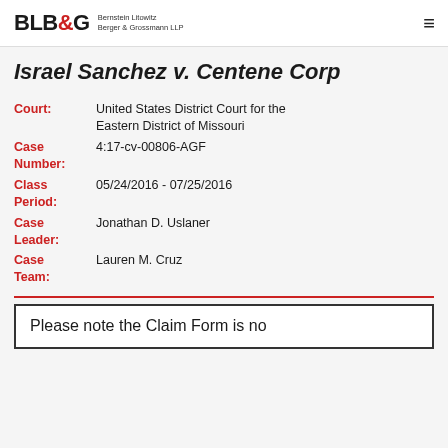BLB&G Bernstein Litowitz Berger & Grossmann LLP
Israel Sanchez v. Centene Corp
Court: United States District Court for the Eastern District of Missouri
Case Number: 4:17-cv-00806-AGF
Class Period: 05/24/2016 - 07/25/2016
Case Leader: Jonathan D. Uslaner
Case Team: Lauren M. Cruz
Please note the Claim Form is no